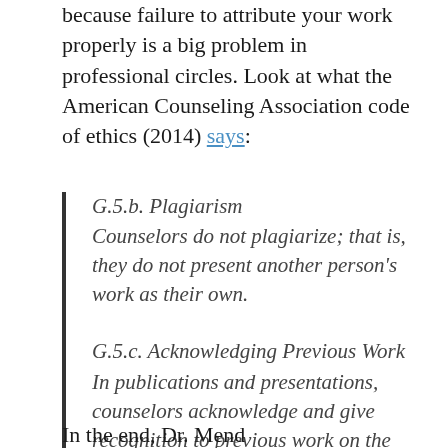because failure to attribute your work properly is a big problem in professional circles. Look at what the American Counseling Association code of ethics (2014) says:
G.5.b. Plagiarism
Counselors do not plagiarize; that is, they do not present another person's work as their own.
G.5.c. Acknowledging Previous Work
In publications and presentations, counselors acknowledge and give recognition to previous work on the topic by others or self.
In the end, Dr. Mend...